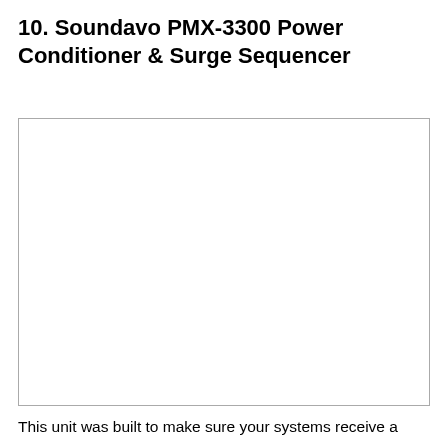10. Soundavo PMX-3300 Power Conditioner & Surge Sequencer
[Figure (photo): Empty white rectangle with a thin border, representing a placeholder image of the Soundavo PMX-3300 Power Conditioner & Surge Sequencer device.]
This unit was built to make sure your systems receive a